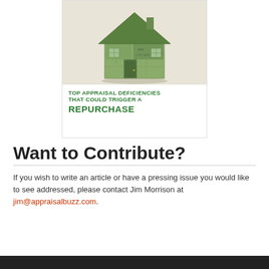[Figure (illustration): Advertisement image: a house made of folded US dollar bills above bold green text reading 'TOP APPRAISAL DEFICIENCIES THAT COULD TRIGGER A REPURCHASE']
Want to Contribute?
If you wish to write an article or have a pressing issue you would like to see addressed, please contact Jim Morrison at jim@appraisalbuzz.com.